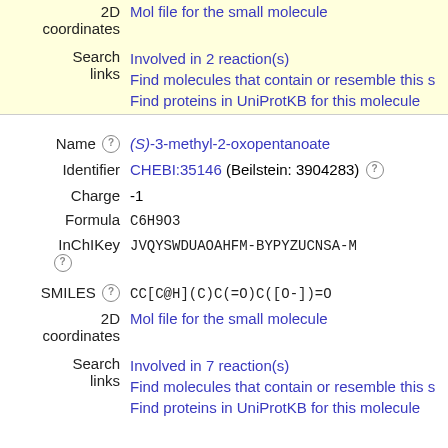| Label | Value |
| --- | --- |
| 2D coordinates | Mol file for the small molecule |
| Search links | Involved in 2 reaction(s)
Find molecules that contain or resemble this s
Find proteins in UniProtKB for this molecule |
| Name | (S)-3-methyl-2-oxopentanoate |
| Identifier | CHEBI:35146 (Beilstein: 3904283) |
| Charge | -1 |
| Formula | C6H9O3 |
| InChIKey | JVQYSWDUAOAHFM-BYPYZUCNSA-M |
| SMILES | CC[C@H](C)C(=O)C([O-])=O |
| 2D coordinates | Mol file for the small molecule |
| Search links | Involved in 7 reaction(s)
Find molecules that contain or resemble this s
Find proteins in UniProtKB for this molecule |